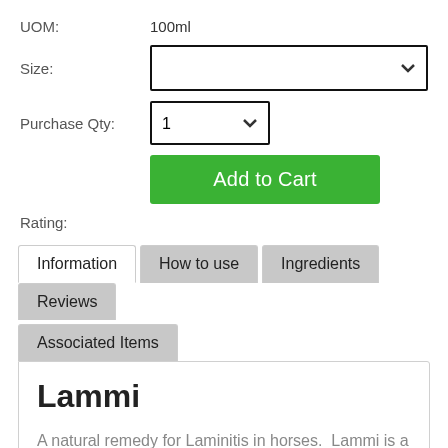UOM: 100ml
Size: [dropdown]
Purchase Qty: 1 [dropdown]
Add to Cart [button]
Rating:
Information | How to use | Ingredients | Reviews | Associated Items [tabs]
Lammi
A natural remedy for Laminitis in horses. Lammi is a homeopathic blend designed specifically to support the normal immune response of a